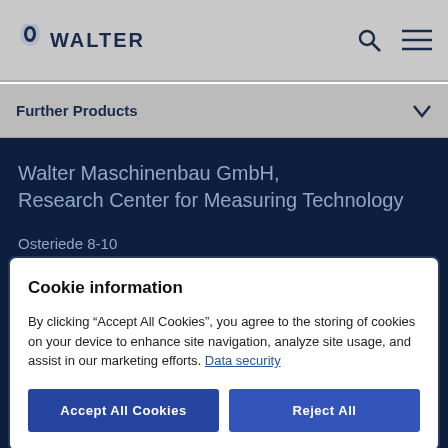WALTER
Further Products
Walter Maschinenbau GmbH, Research Center for Measuring Technology
Osteriede 8-10
30827 Garbsen
Cookie information
By clicking “Accept All Cookies”, you agree to the storing of cookies on your device to enhance site navigation, analyze site usage, and assist in our marketing efforts. Data security
Accept All Cookies
Reject All